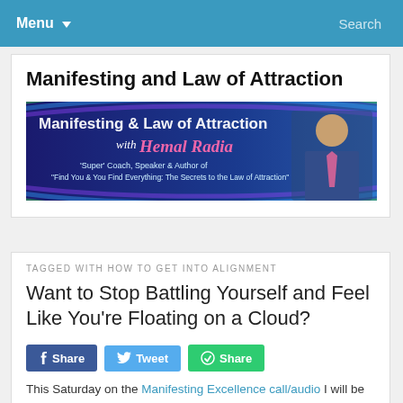Menu  Search
Manifesting and Law of Attraction
[Figure (illustration): Colorful rainbow-gradient banner reading 'Manifesting & Law of Attraction with Hemal Radia – Super Coach, Speaker & Author of Find You & You Find Everything: The Secrets to the Law of Attraction', with a photo of a man in a suit on the right.]
TAGGED WITH HOW TO GET INTO ALIGNMENT
Want to Stop Battling Yourself and Feel Like You're Floating on a Cloud?
Share  Tweet  Share
This Saturday on the Manifesting Excellence call/audio I will be Share talking about how to get into deep communication with yourself.